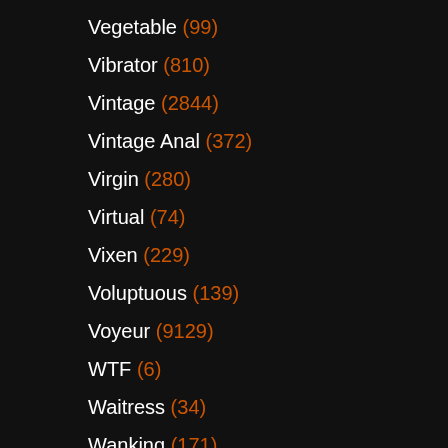Vegetable (99)
Vibrator (810)
Vintage (2844)
Vintage Anal (372)
Virgin (280)
Virtual (74)
Vixen (229)
Voluptuous (139)
Voyeur (9129)
WTF (6)
Waitress (34)
Wanking (171)
Watching (264)
Watersports (85)
Wax (77)
Webcam (9239)